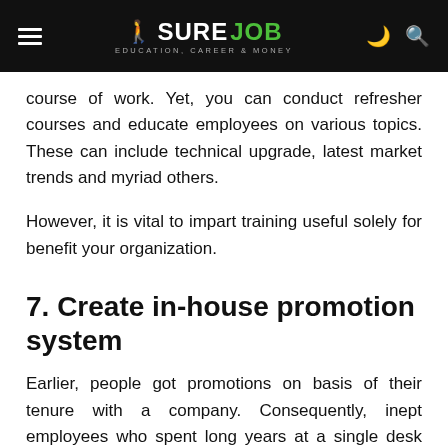Sure Job — Education, Career & Money
course of work. Yet, you can conduct refresher courses and educate employees on various topics. These can include technical upgrade, latest market trends and myriad others.
However, it is vital to impart training useful solely for benefit your organization.
7. Create in-house promotion system
Earlier, people got promotions on basis of their tenure with a company. Consequently, inept employees who spent long years at a single desk got promotions.